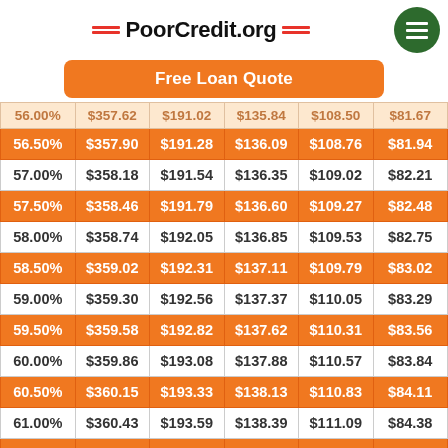PoorCredit.org
Free Loan Quote
| Rate | 12 mo | 24 mo | 36 mo | 48 mo | 60 mo |
| --- | --- | --- | --- | --- | --- |
| 56.50% | $357.90 | $191.28 | $136.09 | $108.76 | $81.94 |
| 57.00% | $358.18 | $191.54 | $136.35 | $109.02 | $82.21 |
| 57.50% | $358.46 | $191.79 | $136.60 | $109.27 | $82.48 |
| 58.00% | $358.74 | $192.05 | $136.85 | $109.53 | $82.75 |
| 58.50% | $359.02 | $192.31 | $137.11 | $109.79 | $83.02 |
| 59.00% | $359.30 | $192.56 | $137.37 | $110.05 | $83.29 |
| 59.50% | $359.58 | $192.82 | $137.62 | $110.31 | $83.56 |
| 60.00% | $359.86 | $193.08 | $137.88 | $110.57 | $83.84 |
| 60.50% | $360.15 | $193.33 | $138.13 | $110.83 | $84.11 |
| 61.00% | $360.43 | $193.59 | $138.39 | $111.09 | $84.38 |
| 61.50% | $360.71 | $193.85 | $138.64 | $111.35 | $84.66 |
| 62.00% | $360.99 | $194.11 | $138.90 | $111.61 | $84.93 |